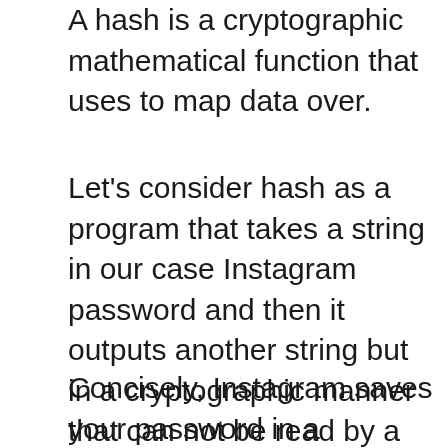A hash is a cryptographic mathematical function that uses to map data over.
Let's consider hash as a program that takes a string in our case Instagram password and then it outputs another string but in a cryptographic manner that can not be read by a normal person.
Concisely, Instagram saves your password in a cryptographic format instead of a direct string.  If